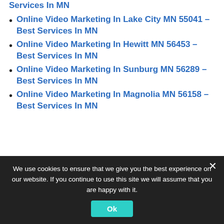Online Video Marketing In Lake City MN 55041 – Best Services In MN
Online Video Marketing In Hewitt MN 56453 – Best Services In MN
Online Video Marketing In Sunburg MN 56289 – Best Services In MN
Online Video Marketing In Magnolia MN 56158 – Best Services In MN
[Figure (screenshot): Embedded YouTube video thumbnail showing 'Video Ranking Servic...' by Lucid Leverage channel with play button overlay]
We use cookies to ensure that we give you the best experience on our website. If you continue to use this site we will assume that you are happy with it.